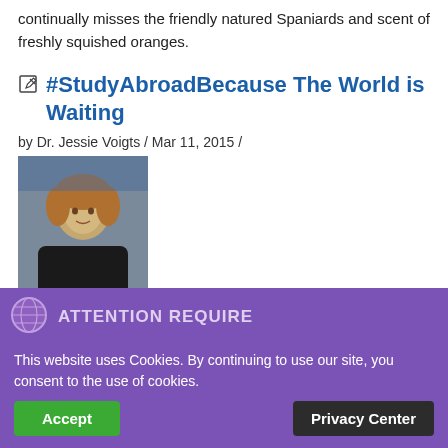continually misses the friendly natured Spaniards and scent of freshly squished oranges.
#StudyAbroadBecause The World is Waiting
by Dr. Jessie Voigts / Mar 11, 2015 /
[Figure (photo): Portrait photo of author Brad Miner]
Brad Miner, originally from a small town in
ATTENTION REQUIRED
This website uses Cookies. By continuing to use our site, you consent to the use of cookies.